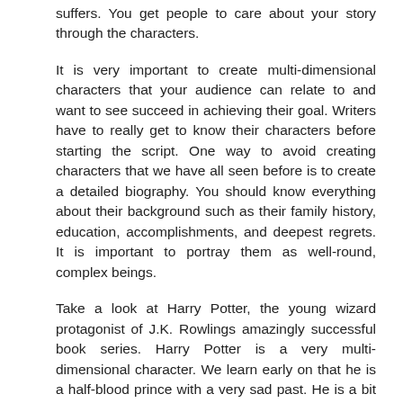suffers. You get people to care about your story through the characters.
It is very important to create multi-dimensional characters that your audience can relate to and want to see succeed in achieving their goal. Writers have to really get to know their characters before starting the script. One way to avoid creating characters that we have all seen before is to create a detailed biography. You should know everything about their background such as their family history, education, accomplishments, and deepest regrets. It is important to portray them as well-round, complex beings.
Take a look at Harry Potter, the young wizard protagonist of J.K. Rowlings amazingly successful book series. Harry Potter is a very multi-dimensional character. We learn early on that he is a half-blood prince with a very sad past. He is a bit of a loner that has been taking care of himself since he was very young. Harry Potter is a gifted wizard that is in